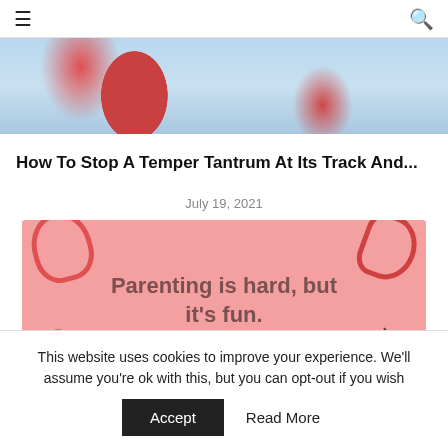≡ [hamburger menu] [search icon]
[Figure (photo): Cropped photo of a child with colorful clothes, partial view showing red and blue fabric]
How To Stop A Temper Tantrum At Its Track And...
July 19, 2021
[Figure (illustration): Pink illustrated card with decorative elements (flower, cherries, swirls) and text 'Parenting is hard, but it's fun.']
This website uses cookies to improve your experience. We'll assume you're ok with this, but you can opt-out if you wish
Accept    Read More